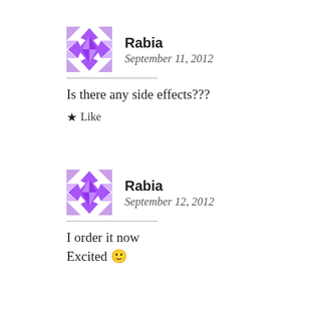[Figure (illustration): Purple geometric/diamond avatar icon for user Rabia, first comment]
Rabia
September 11, 2012
Is there any side effects???
★ Like
[Figure (illustration): Purple geometric/diamond avatar icon for user Rabia, second comment]
Rabia
September 12, 2012
I order it now
Excited 🙂